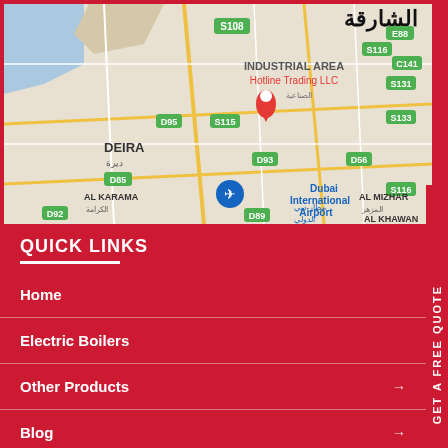[Figure (map): Google Maps view showing Dubai Industrial Area with Hotline Trading LLC marker, Dubai International Airport marker (blue), DEIRA area, AL KARAMA, AL MIZHAR, AL KHAWAN, and various road labels including D95, D93, D85, D92, D89, D56, S108, S115, S116, S131, S133, E88 etc.]
QUICK LINKS
Home
Electric Boilers
Other Products
Blog
Contact Us